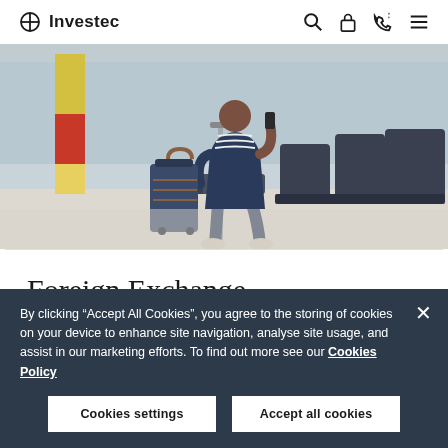Investec
[Figure (photo): Man sitting at airport terminal speaking on phone with luggage next to him, airport seating in background]
Foreign Exchange
By clicking "Accept All Cookies", you agree to the storing of cookies on your device to enhance site navigation, analyse site usage, and assist in our marketing efforts. To find out more see our Cookies Policy
Cookies settings   Accept all cookies